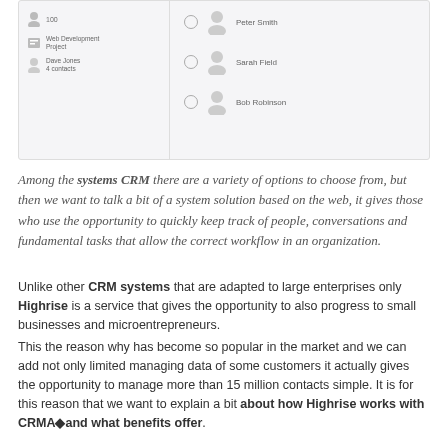[Figure (screenshot): CRM software interface showing a list of contacts on the left (person icon with '100', Web Development Project with Dave Jones / 4 contacts) and on the right a list of contacts: Peter Smith, Sarah Field, Bob Robinson each with a user avatar icon and a checkbox.]
Among the systems CRM there are a variety of options to choose from, but then we want to talk a bit of a system solution based on the web, it gives those who use the opportunity to quickly keep track of people, conversations and fundamental tasks that allow the correct workflow in an organization.
Unlike other CRM systems that are adapted to large enterprises only Highrise is a service that gives the opportunity to also progress to small businesses and microentrepreneurs.
This the reason why has become so popular in the market and we can add not only limited managing data of some customers it actually gives the opportunity to manage more than 15 million contacts simple. It is for this reason that we want to explain a bit about how Highrise works with CRMA◆and what benefits offer.